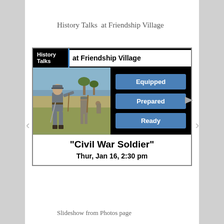History Talks  at Friendship Village
[Figure (infographic): History Talks at Friendship Village event poster featuring Civil War soldiers illustration with 'Equipped', 'Prepared', 'Ready' buttons and event details: "Civil War Soldier" Thur, Jan 16, 2:30 pm]
Slideshow from Photos page